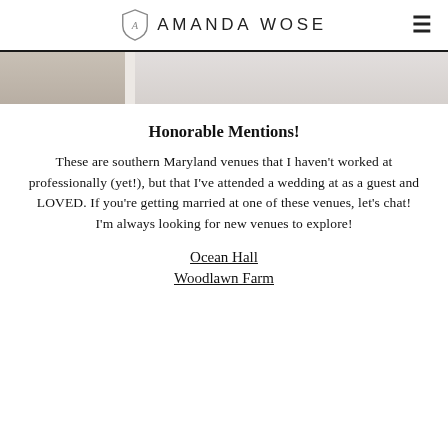AMANDA WOSE
[Figure (photo): Partial cropped wedding photo showing stationery/books on a light background]
Honorable Mentions!
These are southern Maryland venues that I haven't worked at professionally (yet!), but that I've attended a wedding at as a guest and LOVED. If you're getting married at one of these venues, let's chat! I'm always looking for new venues to explore!
Ocean Hall
Woodlawn Farm